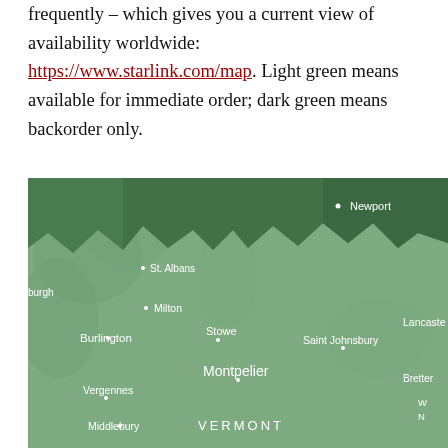frequently – which gives you a current view of availability worldwide: https://www.starlink.com/map. Light green means available for immediate order; dark green means backorder only.
[Figure (map): Starlink availability map showing Vermont and surrounding region. Light green areas indicate available for immediate order; dark green areas in the north (near Newport) indicate backorder only. Cities labeled include Newport, St. Albans, Milton, Burlington, Stowe, Saint Johnsbury, Montpelier, Vergennes, Middlebury, Lancaster, Bretton, and partial labels for burgh and W/N.]